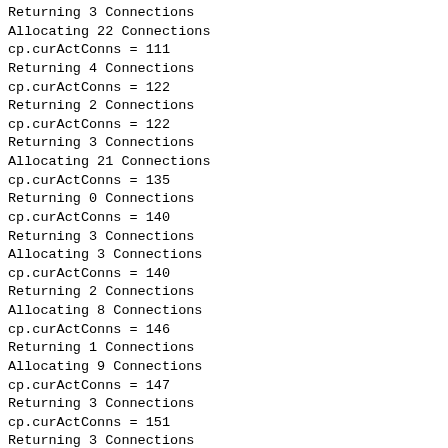Returning 3 Connections
Allocating 22 Connections
cp.curActConns = 111
Returning 4 Connections
cp.curActConns = 122
Returning 2 Connections
cp.curActConns = 122
Returning 3 Connections
Allocating 21 Connections
cp.curActConns = 135
Returning 0 Connections
cp.curActConns = 140
Returning 3 Connections
Allocating 3 Connections
cp.curActConns = 140
Returning 2 Connections
Allocating 8 Connections
cp.curActConns = 146
Returning 1 Connections
Allocating 9 Connections
cp.curActConns = 147
Returning 3 Connections
cp.curActConns = 151
Returning 3 Connections
Allocating 16 Connections
cp.curActConns = 159
Returning 2 Connections
cp.curActConns = 162
Returning 3 Connections
Allocating 11 Connections